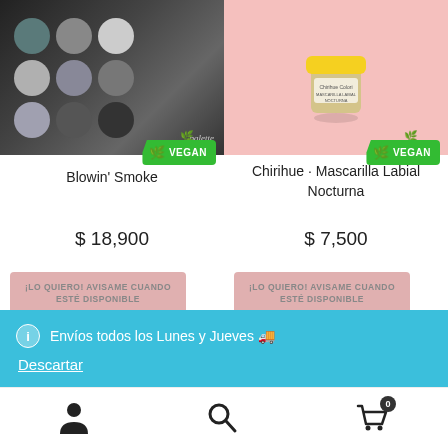[Figure (photo): Blowin' Smoke eyeshadow palette product photo with dark/grey tones, showing circular eyeshadows in a black palette]
[Figure (photo): Chirihue Mascarilla Labial Nocturna product photo - small yellow-lidded jar on pink background]
Blowin' Smoke
Chirihue · Mascarilla Labial Nocturna
$ 18,900
$ 7,500
¡LO QUIERO! AVISAME CUANDO ESTÉ DISPONIBLE
¡LO QUIERO! AVISAME CUANDO ESTÉ DISPONIBLE
ℹ Envíos todos los Lunes y Jueves 🚚
Descartar